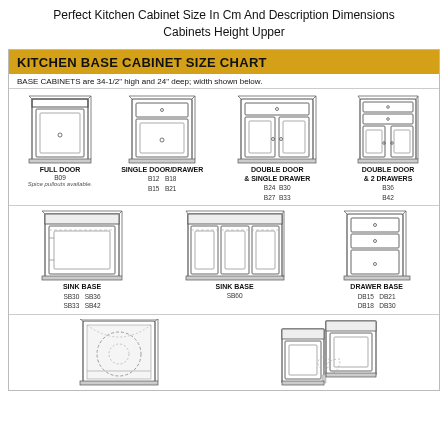Perfect Kitchen Cabinet Size In Cm And Description Dimensions Cabinets Height Upper
[Figure (infographic): Kitchen Base Cabinet Size Chart infographic showing various base cabinet types with illustrations and model numbers including Full Door (B09), Single Door/Drawer (B12, B15, B18, B21), Double Door & Single Drawer (B24, B27, B30, B33), Double Door & 2 Drawers (B36, B42), Sink Base (SB30, SB33, SB36, SB42), Sink Base (SB60), Drawer Base (DB15, DB18, DB21, DB30), and corner cabinet types.]